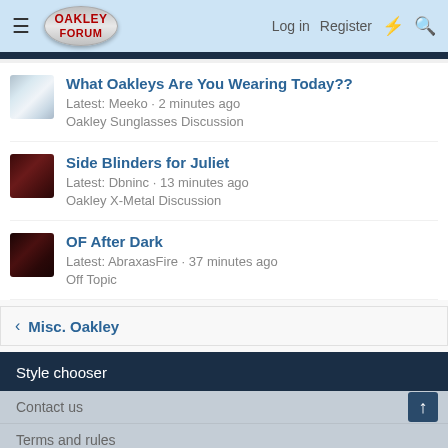Oakley Forum — Log in | Register
What Oakleys Are You Wearing Today?? — Latest: Meeko · 2 minutes ago — Oakley Sunglasses Discussion
Side Blinders for Juliet — Latest: Dbninc · 13 minutes ago — Oakley X-Metal Discussion
OF After Dark — Latest: AbraxasFire · 37 minutes ago — Off Topic
< Misc. Oakley
Style chooser
Contact us
Terms and rules